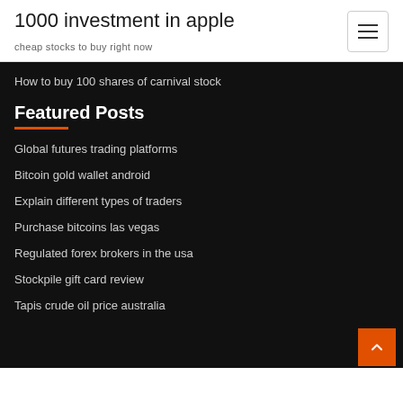1000 investment in apple
cheap stocks to buy right now
How to buy 100 shares of carnival stock
Featured Posts
Global futures trading platforms
Bitcoin gold wallet android
Explain different types of traders
Purchase bitcoins las vegas
Regulated forex brokers in the usa
Stockpile gift card review
Tapis crude oil price australia